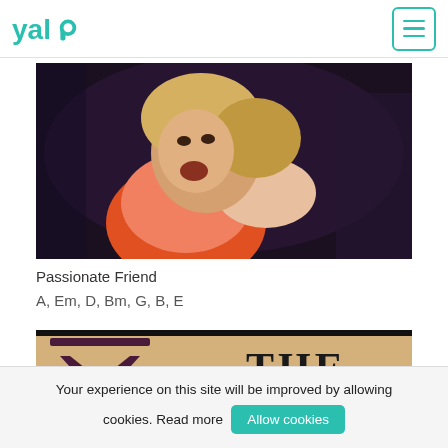yalp [logo] [hamburger menu button]
[Figure (photo): Photo of a rock musician, appears to be a male performer with light/blonde hair, wearing a pink/orange top, singing or performing on stage with dramatic lighting]
Passionate Friend
A, Em, D, Bm, G, B, E
[Figure (photo): Partial image of an album or book cover with beige/tan background. Left side shows a dark stylized logo/emblem. Right side shows large text 'THE' with 'out of the' below it and partial text 'TEAR' cut off.]
Your experience on this site will be improved by allowing cookies. Read more
Allow cookies